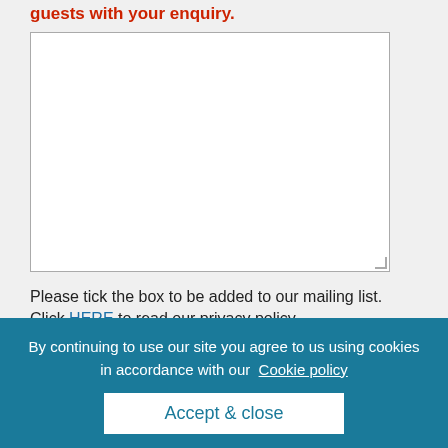guests with your enquiry.
[Figure (other): Large empty textarea input box with resize handle in bottom-right corner]
Please tick the box to be added to our mailing list. Click HERE to read our privacy policy.
[Figure (other): Blue filled checkbox square]
For security reasons please confirm that you're not a robot and tick the box.
[Figure (other): reCAPTCHA widget box partially visible]
By continuing to use our site you agree to us using cookies in accordance with our Cookie policy
Accept & close